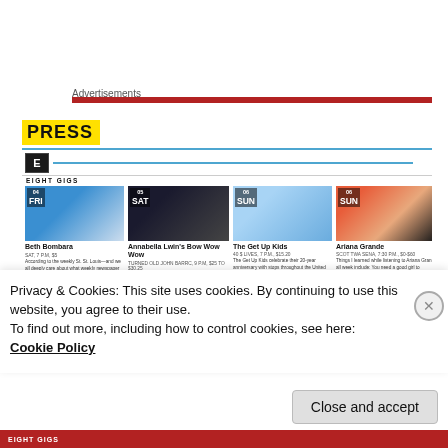Advertisements
[Figure (screenshot): PRESS section showing Eight Gigs website screenshot with four event cards: Beth Bombara (04 FRI), Annabella Lwin's Bow Wow Wow (05 SAT), The Get Up Kids (06 SUN), Ariana Grande (06 SUN)]
Privacy & Cookies: This site uses cookies. By continuing to use this website, you agree to their use.
To find out more, including how to control cookies, see here:
Cookie Policy
Close and accept